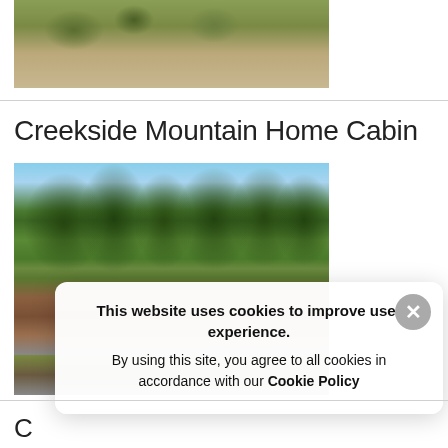[Figure (photo): Partial photo of a cabin exterior with stone pathway and green shrubs/landscaping]
Creekside Mountain Home Cabin
[Figure (photo): Photo of a mountain cabin with a metal roof surrounded by tall pine trees and blue sky; partial lower portion visible]
This website uses cookies to improve user experience. By using this site, you agree to all cookies in accordance with our Cookie Policy
C